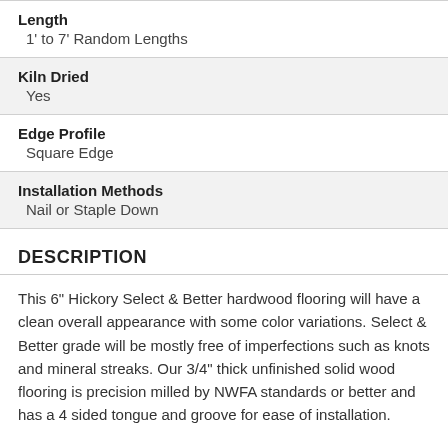Length: 1' to 7' Random Lengths
Kiln Dried: Yes
Edge Profile: Square Edge
Installation Methods: Nail or Staple Down
DESCRIPTION
This 6" Hickory Select & Better hardwood flooring will have a clean overall appearance with some color variations. Select & Better grade will be mostly free of imperfections such as knots and mineral streaks. Our 3/4" thick unfinished solid wood flooring is precision milled by NWFA standards or better and has a 4 sided tongue and groove for ease of installation.
ACCESSORIES